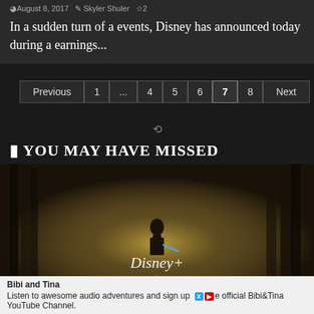August 8, 2017  Skyler Shuler  2
In a sudden turn of a events, Disney has announced today during a earnings...
Previous  1  ...  4  5  6  7  8  Next
YOU MAY HAVE MISSED
[Figure (photo): A child figure standing in a glowing forest scene with Disney+ logo overlay]
Bibi and Tina
Listen to awesome audio adventures and sign up e official Bibi&Tina YouTube Channel.